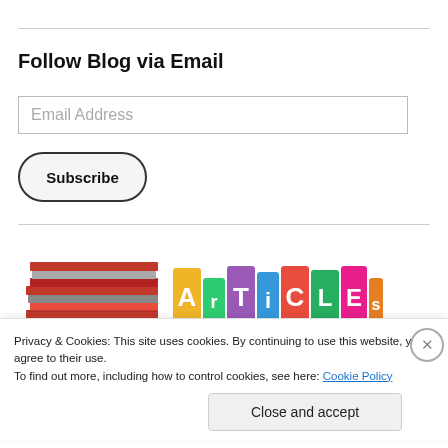Follow Blog via Email
Email Address
Subscribe
[Figure (illustration): Stack of books/magazines on the left; colorful 'ArTiCLEs' text blocks on the right]
Privacy & Cookies: This site uses cookies. By continuing to use this website, you agree to their use.
To find out more, including how to control cookies, see here: Cookie Policy
Close and accept